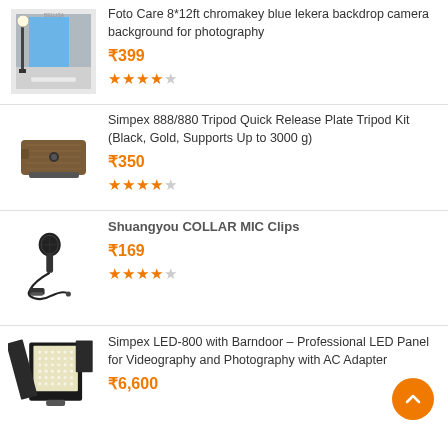[Figure (photo): Chromakey blue backdrop in a photography studio]
Foto Care 8*12ft chromakey blue lekera backdrop camera background for photography
₹399
4 out of 5 stars rating
[Figure (photo): Simpex tripod quick release plate, brown/black colored]
Simpex 888/880 Tripod Quick Release Plate Tripod Kit (Black, Gold, Supports Up to 3000 g)
₹350
4 out of 5 stars rating
[Figure (photo): Collar microphone / lavalier mic with clip]
Shuangyou COLLAR MIC Clips
₹169
4 out of 5 stars rating
[Figure (photo): Simpex LED-800 panel light with barndoor]
Simpex LED-800 with Barndoor – Professional LED Panel for Videography and Photography with AC Adapter
₹6,600